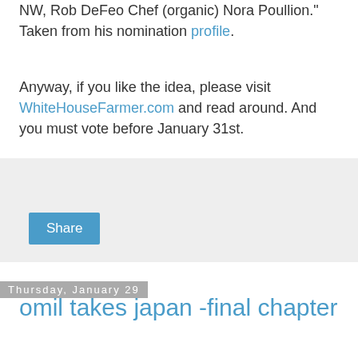NW, Rob DeFeo Chef (organic) Nora Poullion." Taken from his nomination profile.
Anyway, if you like the idea, please visit WhiteHouseFarmer.com and read around. And you must vote before January 31st.
[Figure (other): Share button widget area with light grey background]
Thursday, January 29
omil takes japan -final chapter
Part 4. Back to Tokyo
"So after heading back to Tokyo, I was feeling a little under the weather, mostly gassy, but nothing to worry about, or, so I thought...